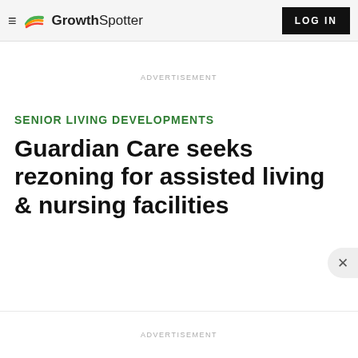GrowthSpotter — LOG IN
ADVERTISEMENT
SENIOR LIVING DEVELOPMENTS
Guardian Care seeks rezoning for assisted living & nursing facilities
ADVERTISEMENT